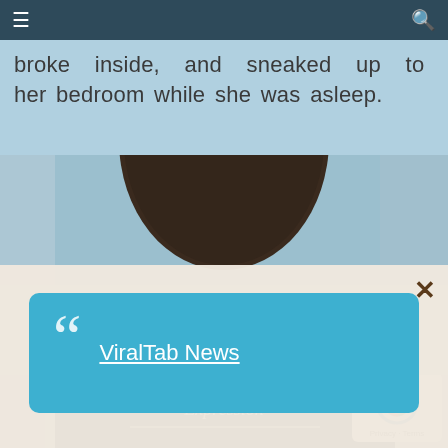☰  🔍
broke inside, and sneaked up to her bedroom while she was asleep.
[Figure (photo): Partial top-of-head photo of a person with curly dark hair, viewed from behind, indoor setting]
[Figure (screenshot): Modal dialog overlay with close button (×), containing a blue rounded rectangle with large quote mark and 'ViralTab News' underlined link]
[Figure (photo): Person wearing a dark navy t-shirt with 'Freedom of Expression' graphic text, curly dark hair, viewed from behind, indoor setting with tiled floor]
[Figure (other): reCAPTCHA privacy badge with rotating arrow icon and 'Privacy · Terms' text]